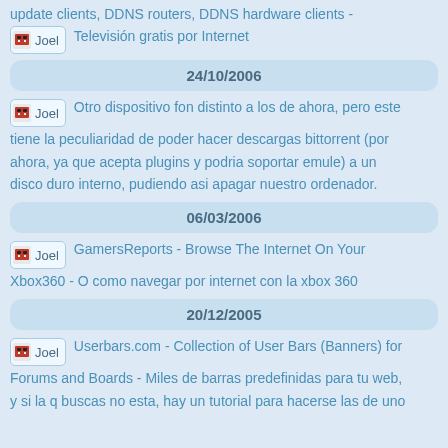update clients, DDNS routers, DDNS hardware clients -
Joel - Televisión gratis por Internet
24/10/2006
Joel - Otro dispositivo fon distinto a los de ahora, pero este tiene la peculiaridad de poder hacer descargas bittorrent (por ahora, ya que acepta plugins y podria soportar emule) a un disco duro interno, pudiendo asi apagar nuestro ordenador.
06/03/2006
Joel - GamersReports - Browse The Internet On Your Xbox360 - O como navegar por internet con la xbox 360
20/12/2005
Joel - Userbars.com - Collection of User Bars (Banners) for Forums and Boards - Miles de barras predefinidas para tu web, y si la q buscas no esta, hay un tutorial para hacerse las de uno